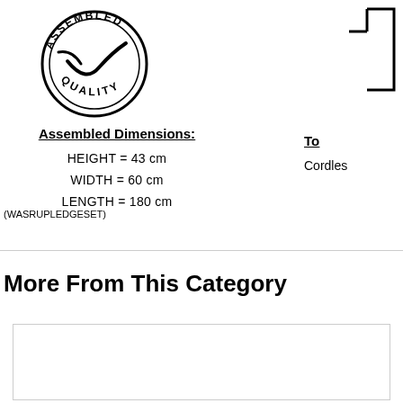[Figure (logo): Assembled Quality stamp logo with circular text and checkmark]
[Figure (illustration): Partial view of a product illustration (cordless item) on right side]
Assembled Dimensions:
HEIGHT = 43 cm
WIDTH = 60 cm
LENGTH = 180 cm
(WASRUPLEDGESET)
To
Cordles
More From This Category
[Figure (other): Empty product card placeholder]